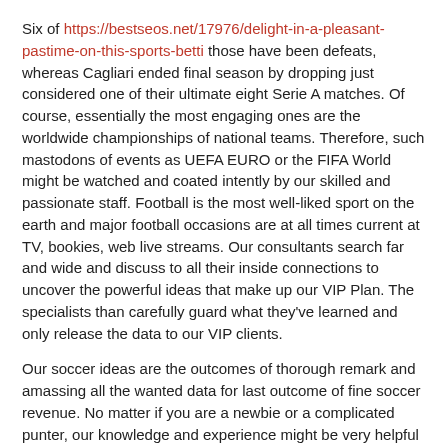Six of https://bestseos.net/17976/delight-in-a-pleasant-pastime-on-this-sports-betti those have been defeats, whereas Cagliari ended final season by dropping just considered one of their ultimate eight Serie A matches. Of course, essentially the most engaging ones are the worldwide championships of national teams. Therefore, such mastodons of events as UEFA EURO or the FIFA World might be watched and coated intently by our skilled and passionate staff. Football is the most well-liked sport on the earth and major football occasions are at all times current at TV, bookies, web live streams. Our consultants search far and wide and discuss to all their inside connections to uncover the powerful ideas that make up our VIP Plan. The specialists than carefully guard what they've learned and only release the data to our VIP clients.
Our soccer ideas are the outcomes of thorough remark and amassing all the wanted data for last outcome of fine soccer revenue. No matter if you are a newbie or a complicated punter, our knowledge and experience might be very helpful to you. Tomorrow sees a number of meetings between groups from various soccer competitions all over the world. SoccerStats247 has ready betting predictions for football matches https://asherahsgourmet.com/11886/vegus168-discover-more performed tomorrow, masking a quantity of leagues and markets. The favorites within the positive win soccer match prediction 1x2 market may have an unhelpful handicap to defeat, as the underdog will have an activist handicap benefit and counted as one of the best positive win soccer prediction website.
At suggestions a hundred and eighty football prediction, they're dedicated to serving to football bettors all around the globe benefit